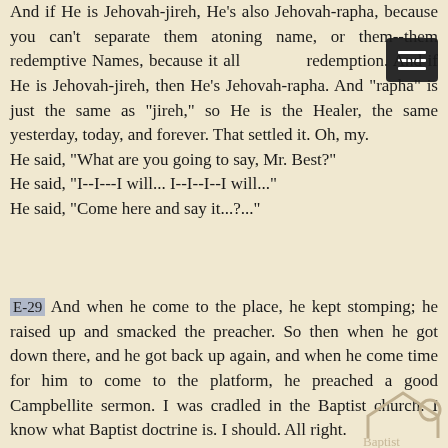And if He is Jehovah-jireh, He's also Jehovah-rapha, because you can't separate them atoning name, or them--them redemptive Names, because it all redemption. And if He is Jehovah-jireh, then He's Jehovah-rapha. And "rapha" is just the same as "jireh," so He is the Healer, the same yesterday, today, and forever. That settled it. Oh, my.
He said, "What are you going to say, Mr. Best?"
He said, "I--I---I will... I--I--I--I will..."
He said, "Come here and say it...?..."
E-29 And when he come to the place, he kept stomping; he raised up and smacked the preacher. So then when he got down there, and he got back up again, and when he come time for him to come to the platform, he preached a good Campbellite sermon. I was cradled in the Baptist church. I know what Baptist doctrine is. I should. All right.
And he absolutely did not preach Divine... The Baptist